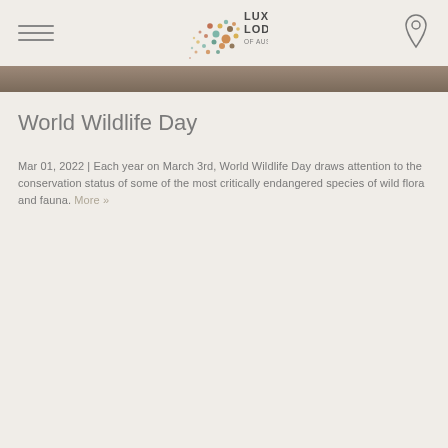Luxury Lodges of Australia
[Figure (photo): Partial view of a nature/wildlife photo forming a narrow strip below the navigation header]
World Wildlife Day
Mar 01, 2022 | Each year on March 3rd, World Wildlife Day draws attention to the conservation status of some of the most critically endangered species of wild flora and fauna. More »